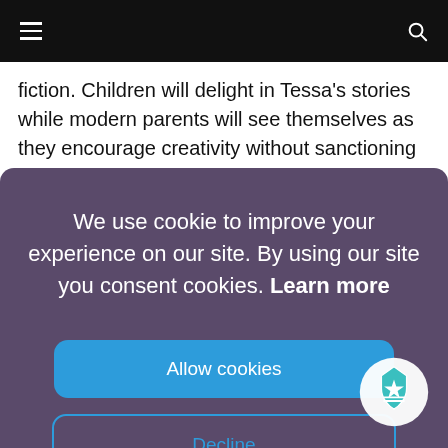Navigation bar with hamburger menu and search icon
fiction. Children will delight in Tessa's stories while modern parents will see themselves as they encourage creativity without sanctioning misleading white lies.
We use cookie to improve your experience on our site. By using our site you consent cookies. Learn more
Allow cookies
Decline